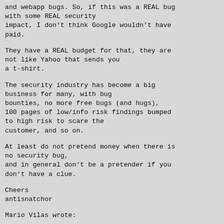and webapp bugs. So, if this was a REAL bug with some REAL security impact, I don't think Google wouldn't have paid.
They have a REAL budget for that, they are not like Yahoo that sends you a t-shirt.
The security industry has become a big business for many, with bug bounties, no more free bugs (and hugs), 100 pages of low/info risk findings bumped to high risk to scare the customer, and so on.
At least do not pretend money when there is no security bug, and in general don't be a pretender if you don't have a clue.
Cheers
antisnatchor
Mario Vilas wrote: